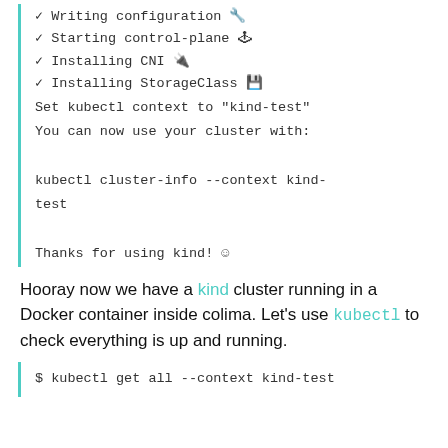✓ Writing configuration 🔧
✓ Starting control-plane 🕹
✓ Installing CNI 🔌
✓ Installing StorageClass 💾
Set kubectl context to "kind-test"
You can now use your cluster with:

kubectl cluster-info --context kind-test

Thanks for using kind! 😊
Hooray now we have a kind cluster running in a Docker container inside colima. Let's use kubectl to check everything is up and running.
$ kubectl get all --context kind-test